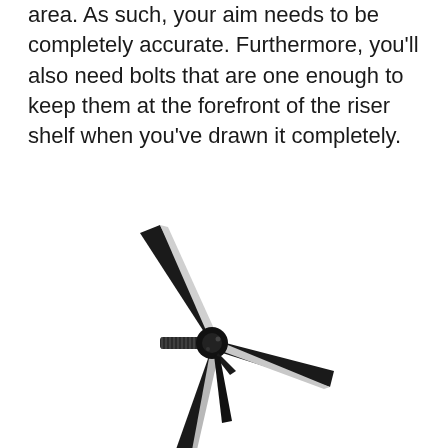area. As such, your aim needs to be completely accurate. Furthermore, you'll also need bolts that are one enough to keep them at the forefront of the riser shelf when you've drawn it completely.
[Figure (photo): A black broadhead arrow tip (mechanical/fixed-blade broadhead) with three blades fanned out, attached to a threaded bolt/insert, shown on a white background. The broadhead has three blades arranged radially, with the assembly pointing downward.]